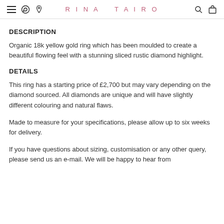RINA TAIRO
DESCRIPTION
Organic 18k yellow gold ring which has been moulded to create a beautiful flowing feel with a stunning sliced rustic diamond highlight.
DETAILS
This ring has a starting price of £2,700 but may vary depending on the diamond sourced. All diamonds are unique and will have slightly different colouring and natural flaws.
Made to measure for your specifications, please allow up to six weeks for delivery.
If you have questions about sizing, customisation or any other query, please send us an e-mail. We will be happy to hear from